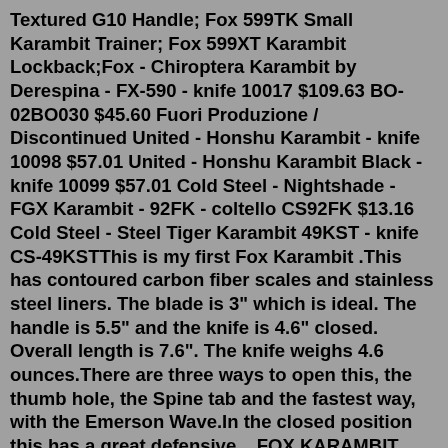Textured G10 Handle; Fox 599TK Small Karambit Trainer; Fox 599XT Karambit Lockback;Fox - Chiroptera Karambit by Derespina - FX-590 - knife 10017 $109.63 BO-02BO030 $45.60 Fuori Produzione / Discontinued United - Honshu Karambit - knife 10098 $57.01 United - Honshu Karambit Black - knife 10099 $57.01 Cold Steel - Nightshade - FGX Karambit - 92FK - coltello CS92FK $13.16 Cold Steel - Steel Tiger Karambit 49KST - knife CS-49KSTThis is my first Fox Karambit .This has contoured carbon fiber scales and stainless steel liners. The blade is 3" which is ideal. The handle is 5.5" and the knife is 4.6" closed. Overall length is 7.6". The knife weighs 4.6 ounces.There are three ways to open this, the thumb hole, the Spine tab and the fastest way, with the Emerson Wave.In the closed position this has a great defensive ...FOX KARAMBIT 599tic tactical knife, ELMAX stainless steel blade, Titanium and carbon fiber handle, FOX Knives Military Division for Sale Online - Born and developed for the Armed Forces -